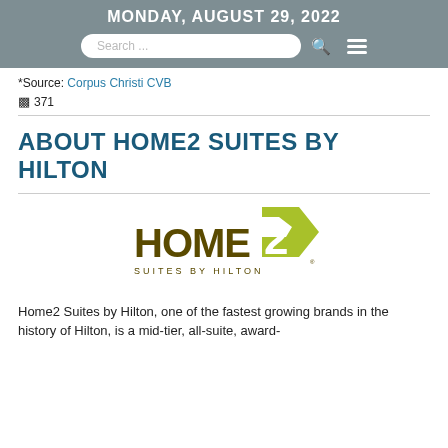MONDAY, AUGUST 29, 2022
*Source: Corpus Christi CVB
371
ABOUT HOME2 SUITES BY HILTON
[Figure (logo): Home2 Suites by Hilton logo with olive/lime green stylized '2' shape and dark olive-brown text]
Home2 Suites by Hilton, one of the fastest growing brands in the history of Hilton, is a mid-tier, all-suite, award-